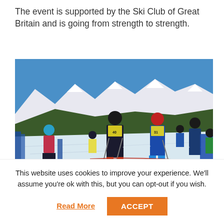The event is supported by the Ski Club of Great Britain and is going from strength to strength.
[Figure (photo): Ski racers in yellow bibs on a snow slope preparing for a race, with snow-capped mountains and blue sky in the background. Several competitors numbered, including bib 31, are visible on a groomed ski slope with blue safety netting.]
This website uses cookies to improve your experience. We'll assume you're ok with this, but you can opt-out if you wish.
Read More
ACCEPT